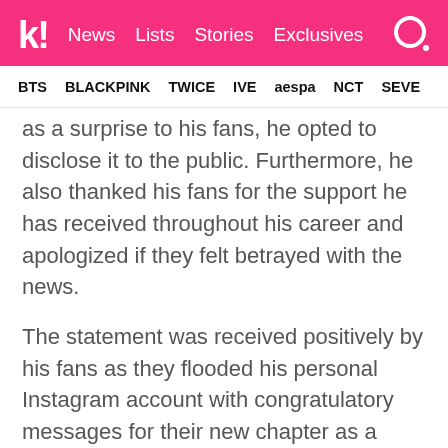Koreaboo | News | Lists | Stories | Exclusives
BTS  BLACKPINK  TWICE  IVE  aespa  NCT  SEVE
as a surprise to his fans, he opted to disclose it to the public. Furthermore, he also thanked his fans for the support he has received throughout his career and apologized if they felt betrayed with the news.
The statement was received positively by his fans as they flooded his personal Instagram account with congratulatory messages for their new chapter as a couple and soon-to-be parents.
A preview photo of his wedding photos with his wife was also uploaded with the post.